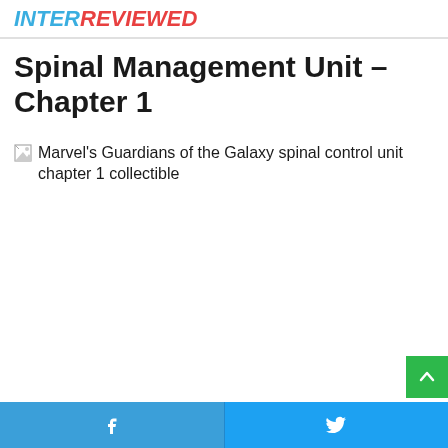INTERREVIEWED
Spinal Management Unit – Chapter 1
[Figure (photo): Broken image placeholder with alt text: Marvel's Guardians of the Galaxy spinal control unit chapter 1 collectible]
Facebook share button | Twitter share button